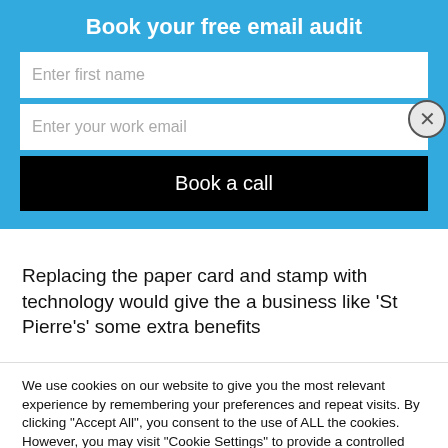Book your free email audit
Enter first name
Enter your work email
Book a call
Replacing the paper card and stamp with technology would give the a business like ‘St Pierre’s’ some extra benefits
We use cookies on our website to give you the most relevant experience by remembering your preferences and repeat visits. By clicking “Accept All”, you consent to the use of ALL the cookies. However, you may visit "Cookie Settings" to provide a controlled consent.
Cookie Settings
Accept All